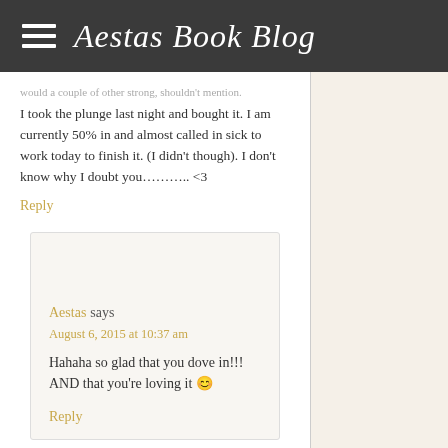Aestas Book Blog
I took the plunge last night and bought it. I am currently 50% in and almost called in sick to work today to finish it. (I didn't though). I don't know why I doubt you……….. <3
Reply
Aestas says
August 6, 2015 at 10:37 am
Hahaha so glad that you dove in!!! AND that you're loving it 😊
Reply